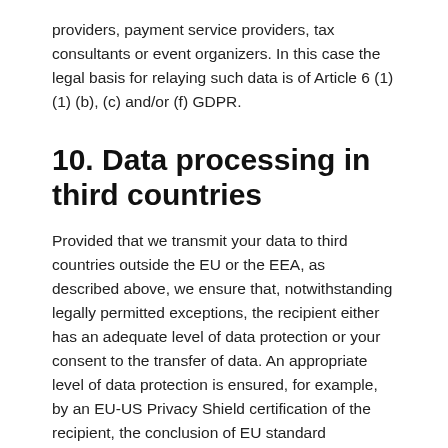providers, payment service providers, tax consultants or event organizers. In this case the legal basis for relaying such data is of Article 6 (1) (1) (b), (c) and/or (f) GDPR.
10. Data processing in third countries
Provided that we transmit your data to third countries outside the EU or the EEA, as described above, we ensure that, notwithstanding legally permitted exceptions, the recipient either has an adequate level of data protection or your consent to the transfer of data. An appropriate level of data protection is ensured, for example, by an EU-US Privacy Shield certification of the recipient, the conclusion of EU standard contractual clauses or